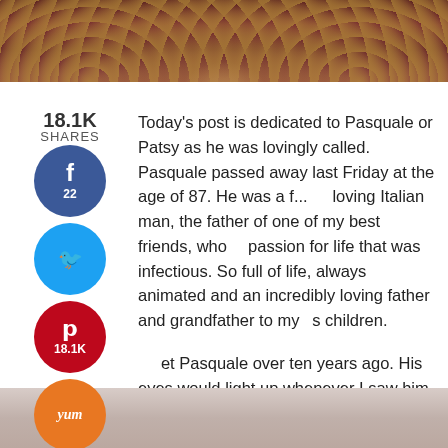[Figure (photo): Top portion of a decorative image with dark red/maroon background with gold geometric patterns, partially showing a light-colored dish or bowl]
Today's post is dedicated to Pasquale or Patsy as he was lovingly called. Pasquale passed away last Friday at the age of 87. He was a f... loving Italian man, the father of one of my best friends, who passion for life that was infectious. So full of life, always animated and an incredibly loving father and grandfather to my s children.
I met Pasquale over ten years ago. His eyes would light up whenever I saw him and he would pretend to speak Chinese to me. Of course, I always humored him and would pretend I understood what he was saying.
[Figure (photo): Bottom portion of a decorative image with light beige/cream tones, showing what appears to be a dish or decorative plate]